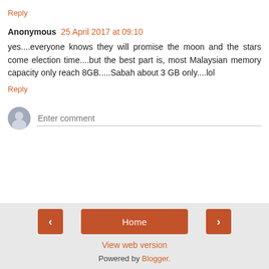Reply
Anonymous  25 April 2017 at 09:10
yes....everyone knows they will promise the moon and the stars come election time....but the best part is, most Malaysian memory capacity only reach 8GB.....Sabah about 3 GB only....lol
Reply
[Figure (other): User avatar placeholder icon (grey circle with silhouette) and 'Enter comment' input field]
< Home > View web version Powered by Blogger.